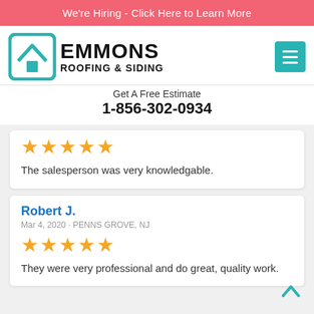We're Hiring - Click Here to Learn More
[Figure (logo): Emmons Roofing & Siding logo with teal square icon and house/roof graphic]
Get A Free Estimate
1-856-302-0934
The salesperson was very knowledgable.
Robert J.
Mar 4, 2020 · PENNS GROVE, NJ
They were very professional and do great, quality work.